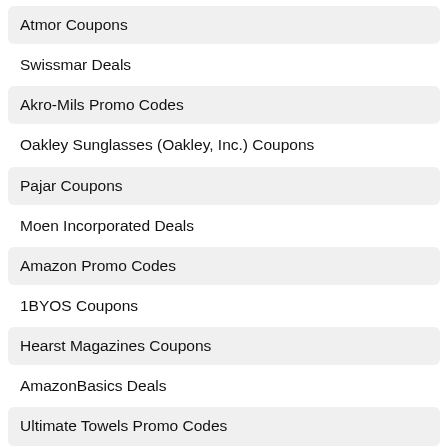Atmor Coupons
Swissmar Deals
Akro-Mils Promo Codes
Oakley Sunglasses (Oakley, Inc.) Coupons
Pajar Coupons
Moen Incorporated Deals
Amazon Promo Codes
1BYOS Coupons
Hearst Magazines Coupons
AmazonBasics Deals
Ultimate Towels Promo Codes
National Geographic Partners LLC Coupons
Conde Nast Coupons